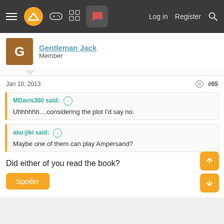Navigation bar with menu, logo, gamepad, grid, chat icons, Log in, Register, Search
Gentleman Jack
Member
Jan 10, 2013  #65
MDavis360 said: ↑
Uhhhhhh....considering the plot I'd say no.
aku:jiki said: ↑
Maybe one of them can play Ampersand?
Did either of you read the book?
Spoiler